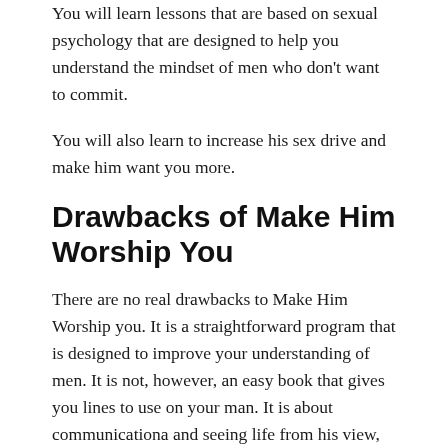You will learn lessons that are based on sexual psychology that are designed to help you understand the mindset of men who don't want to commit.
You will also learn to increase his sex drive and make him want you more.
Drawbacks of Make Him Worship You
There are no real drawbacks to Make Him Worship you. It is a straightforward program that is designed to improve your understanding of men. It is not, however, an easy book that gives you lines to use on your man. It is about communicationa and seeing life from his view, not quick responses to make him do what you want. So if a woman was searching for a quick fix to her boyfriend, this is not the